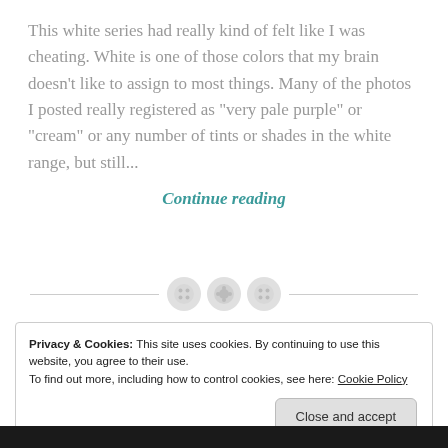This white series had really kind of felt like I was cheating. White is one of those colors that my brain doesn't like to assign to most things. Many of the photos I posted really registered as "very pale purple" or "cream" or any number of tints or shades in the white range, but still...
Continue reading
[Figure (other): Horizontal divider with three decorative button/circle icons in the center]
Privacy & Cookies: This site uses cookies. By continuing to use this website, you agree to their use.
To find out more, including how to control cookies, see here: Cookie Policy
Close and accept